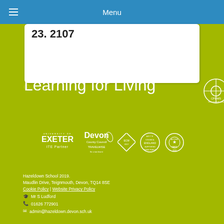Menu
23. 2107
Learning for Living
[Figure (logo): University of Exeter ITE Partner logo, Devon County Council Travelwise logo, square badge logo, Arts Council England logo, Activemark 2010 logo]
Hazeldown School 2019.
Maudlin Drive, Teignmouth, Devon, TQ14 8SE
Cookie Policy | Website Privacy Policy
🎓 Mr S Ludford
📞 01626 772901
✉ admin@hazeldown.devon.sch.uk